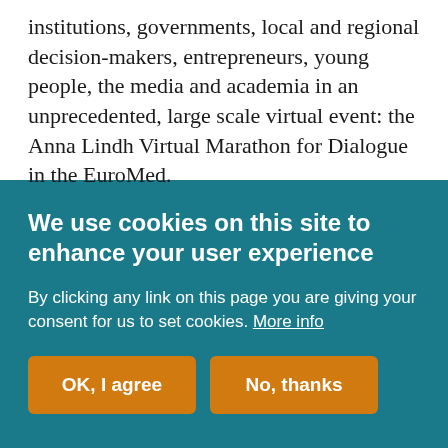institutions, governments, local and regional decision-makers, entrepreneurs, young people, the media and academia in an unprecedented, large scale virtual event: the Anna Lindh Virtual Marathon for Dialogue in the EuroMed.
We use cookies on this site to enhance your user experience
By clicking any link on this page you are giving your consent for us to set cookies. More info
OK, I agree
No, thanks